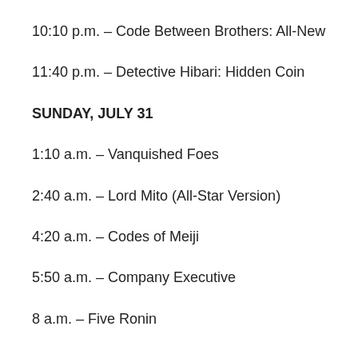10:10 p.m. – Code Between Brothers: All-New
11:40 p.m. – Detective Hibari: Hidden Coin
SUNDAY, JULY 31
1:10 a.m. – Vanquished Foes
2:40 a.m. – Lord Mito (All-Star Version)
4:20 a.m. – Codes of Meiji
5:50 a.m. – Company Executive
8 a.m. – Five Ronin